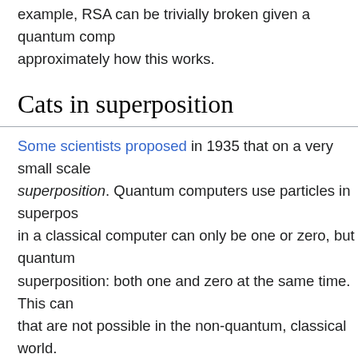example, RSA can be trivially broken given a quantum comp approximately how this works.
Cats in superposition
Some scientists proposed in 1935 that on a very small scale superposition. Quantum computers use particles in superpos in a classical computer can only be one or zero, but quantum superposition: both one and zero at the same time. This can that are not possible in the non-quantum, classical world.
Schrödinger made superposition more tangible by connectin box. The particle and the cat are connected in some way, su dead, depending on the state of the particle. In a classical w you see a dead cat, you know that the cat has been dead all world, the cat is in a superposition. It is both alive and dead a box. When you open the box and look inside, only then the u cat.